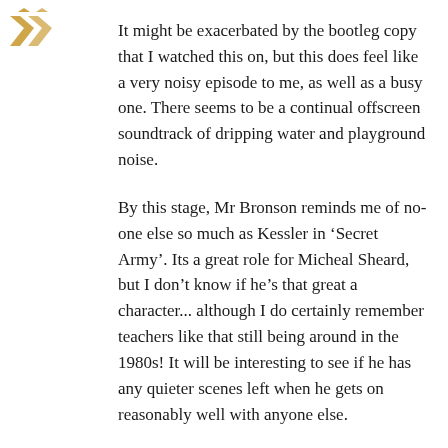[Figure (logo): Decorative geometric logo mark in gold/amber tones, arrow-like shapes pointing outward]
It might be exacerbated by the bootleg copy that I watched this on, but this does feel like a very noisy episode to me, as well as a busy one. There seems to be a continual offscreen soundtrack of dripping water and playground noise.
By this stage, Mr Bronson reminds me of no-one else so much as Kessler in ‘Secret Army’. Its a great role for Micheal Sheard, but I don’t know if he’s that great a character... although I do certainly remember teachers like that still being around in the 1980s! It will be interesting to see if he has any quieter scenes left when he gets on reasonably well with anyone else.